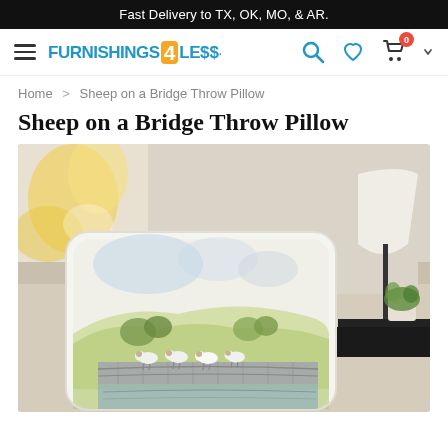Fast Delivery to TX, OK, MO, & AR.
[Figure (logo): Furnishings 4 Less logo with hamburger menu and nav icons (search, heart, cart with 0 badge)]
Home > Sheep on a Bridge Throw Pillow
Sheep on a Bridge Throw Pillow
[Figure (photo): Product photo: a throw pillow featuring a watercolor painting of sheep crossing a stone bridge in a pastoral landscape, displayed on a beige sofa with a lamp and plant in the background, and a yellow abstract painting on the wall.]